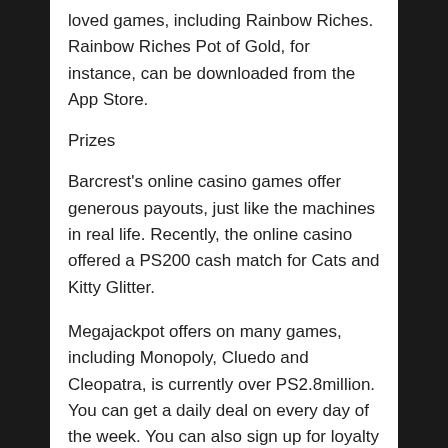loved games, including Rainbow Riches. Rainbow Riches Pot of Gold, for instance, can be downloaded from the App Store.
Prizes
Barcrest's online casino games offer generous payouts, just like the machines in real life. Recently, the online casino offered a PS200 cash match for Cats and Kitty Glitter.
Megajackpot offers on many games, including Monopoly, Cluedo and Cleopatra, is currently over PS2.8million. You can get a daily deal on every day of the week. You can also sign up for loyalty and a bonus.
To check out the main site of UK online casino...